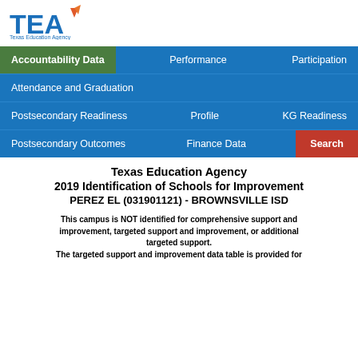TEA - Texas Education Agency logo and navigation menu
Texas Education Agency
2019 Identification of Schools for Improvement
PEREZ EL (031901121) - BROWNSVILLE ISD
This campus is NOT identified for comprehensive support and improvement, targeted support and improvement, or additional targeted support.
The targeted support and improvement data table is provided for